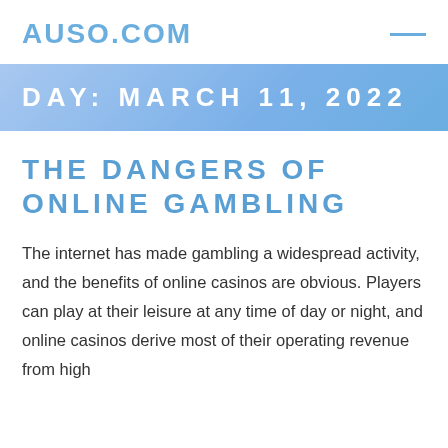AUSO.COM
DAY: MARCH 11, 2022
THE DANGERS OF ONLINE GAMBLING
The internet has made gambling a widespread activity, and the benefits of online casinos are obvious. Players can play at their leisure at any time of day or night, and online casinos derive most of their operating revenue from high